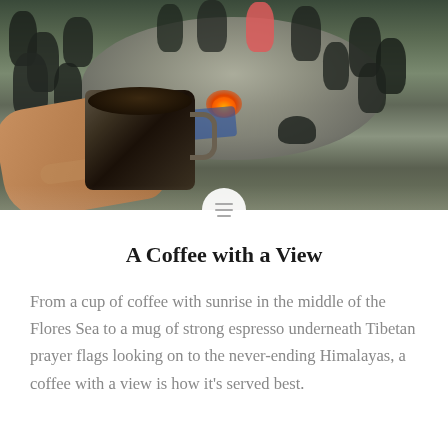[Figure (photo): Fisheye/wide-angle outdoor photo showing a hand holding a dark coffee mug in the foreground, with people gathered around a campfire on a gravel or stone surface in the background. The scene appears to be in a mountainous or rural outdoor setting.]
A Coffee with a View
From a cup of coffee with sunrise in the middle of the Flores Sea to a mug of strong espresso underneath Tibetan prayer flags looking on to the never-ending Himalayas, a coffee with a view is how it's served best.